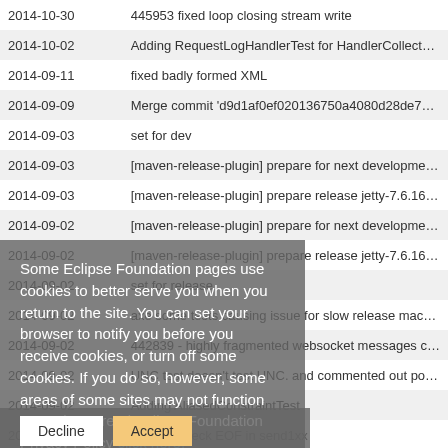| Date | Message |
| --- | --- |
| 2014-10-30 | 445953 fixed loop closing stream write |
| 2014-10-02 | Adding RequestLogHandlerTest for HandlerCollect… |
| 2014-09-11 | fixed badly formed XML |
| 2014-09-09 | Merge commit 'd9d1af0ef020136750a4080d28de7… |
| 2014-09-03 | set for dev |
| 2014-09-03 | [maven-release-plugin] prepare for next developme… |
| 2014-09-03 | [maven-release-plugin] prepare release jetty-7.6.16… |
| 2014-09-02 | [maven-release-plugin] prepare for next developme… |
| 2014-09-02 | [maven-release-plugin] prepare release jetty-7.6.16… |
| 2014-09-02 | set for release |
| 2014-09-02 | axe some tests causing issue for slow release mac… |
| 2014-09-02 | 442839 - highly fragmented websocket messages c… |
| 2014-09-02 | UNC test doesn't test UNC. and commented out po… |
| 2014-09-02 | Adding AliasedConstraintTest |
| 2014-09-02 | 433802 check EOF in send1xx |
| 2014-09-02 | 409788 - Large POST body causes java.lang.Illega… |
| 2014-09-02 | 409788 - Large POST body causes java.lang.Illega… |
| 2014-09-02 | 409788 - Large POST body causes java.lang.Illega… |
| 2014-09-02 | Restored logging level for tests to INFO. |
| 2014-09-02 | Added profile to build with JDK 7u55, and related M… |
| 2014-09-02 | axe some tests causing issue for slow release mac… |
Some Eclipse Foundation pages use cookies to better serve you when you return to the site. You can set your browser to notify you before you receive cookies, or turn off some cookies. If you do so, however, some areas of some sites may not function properly. To read Eclipse Foundation Privacy Policy click here.
Decline
Accept